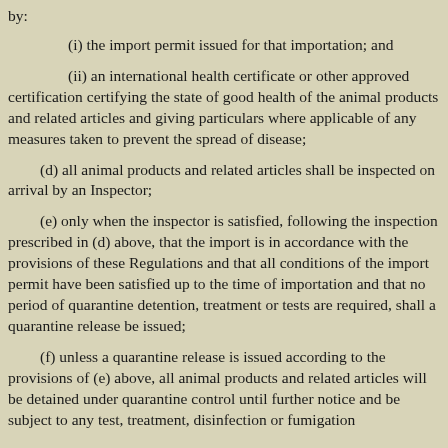by:
(i) the import permit issued for that importation; and
(ii) an international health certificate or other approved certification certifying the state of good health of the animal products and related articles and giving particulars where applicable of any measures taken to prevent the spread of disease;
(d) all animal products and related articles shall be inspected on arrival by an Inspector;
(e) only when the inspector is satisfied, following the inspection prescribed in (d) above, that the import is in accordance with the provisions of these Regulations and that all conditions of the import permit have been satisfied up to the time of importation and that no period of quarantine detention, treatment or tests are required, shall a quarantine release be issued;
(f) unless a quarantine release is issued according to the provisions of (e) above, all animal products and related articles will be detained under quarantine control until further notice and be subject to any test, treatment, disinfection or fumigation